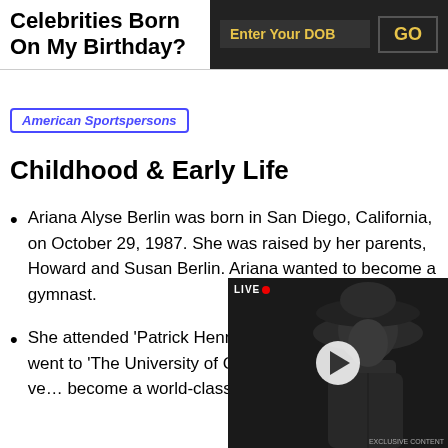Celebrities Born On My Birthday?
Enter Your DOB  GO
American Sportspersons
Childhood & Early Life
Ariana Alyse Berlin was born in San Diego, California, on October 29, 1987. She was raised by her parents, Howard and Susan Berlin. Ariana wanted to become a gymnast.
She attended 'Patrick Henry High School' and later went to 'The University of C... She started training at a ve... become a world-class gym...
[Figure (photo): Black and white photo of a person wearing a wide-brimmed hat, partially obscured by a video player overlay with a play button and LIVE badge.]